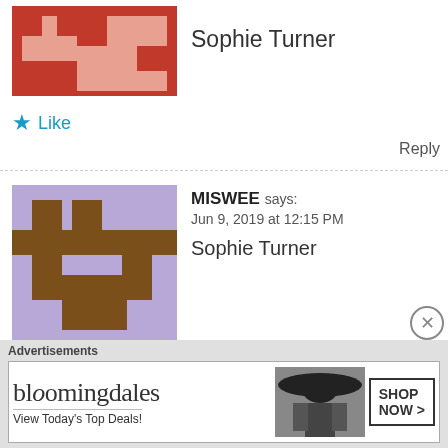[Figure (illustration): Pixel art avatar with red and pink/white pattern on dark red background, partially cropped]
Sophie Turner
★ Like
Reply
[Figure (illustration): Pixel art avatar with brown and light purple/lavender pattern]
MISWEE says: Jun 9, 2019 at 12:15 PM
Sophie Turner
★ Like
Reply
[Figure (illustration): Pixel art avatar with dark blue and cyan/light blue pattern]
LAURA BRADBURY says: Jun 9, 2019 at 1:30 PM
Sophie Turner
Advertisements
[Figure (illustration): Bloomingdales advertisement banner: bloomingdales logo, View Today's Top Deals, woman with hat, SHOP NOW > button]